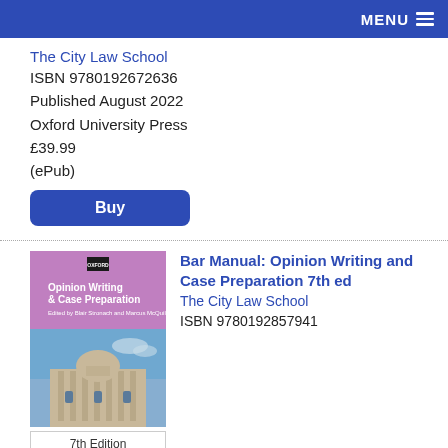MENU
The City Law School
ISBN 9780192672636
Published August 2022
Oxford University Press
£39.99
(ePub)
Buy
[Figure (photo): Book cover of 'Opinion Writing & Case Preparation' 7th Edition, showing a pink/lavender top section with white text and Oxford logo, and a bottom section with a photograph of a classical stone building with columns. Edition label at bottom reads '7th Edition'.]
Bar Manual: Opinion Writing and Case Preparation 7th ed
The City Law School
ISBN 9780192857941